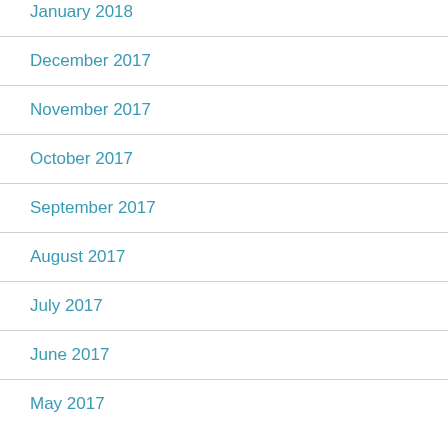January 2018
December 2017
November 2017
October 2017
September 2017
August 2017
July 2017
June 2017
May 2017